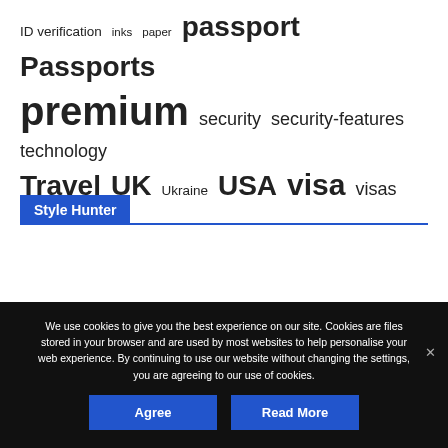ID verification  inks  paper  passport  Passports  premium  security  security-features  technology  Travel  UK  Ukraine  USA  visa  visas
Style Hunter
We use cookies to give you the best experience on our site. Cookies are files stored in your browser and are used by most websites to help personalise your web experience. By continuing to use our website without changing the settings, you are agreeing to our use of cookies.